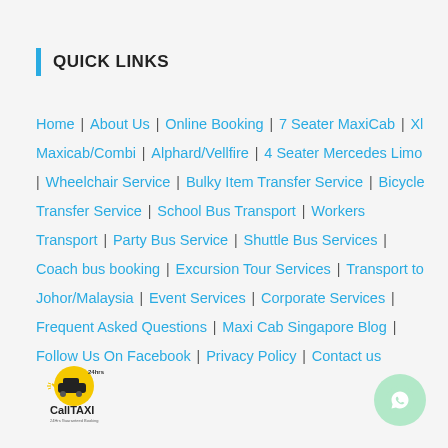QUICK LINKS
Home | About Us | Online Booking | 7 Seater MaxiCab | Xl Maxicab/Combi | Alphard/Vellfire | 4 Seater Mercedes Limo | Wheelchair Service | Bulky Item Transfer Service | Bicycle Transfer Service | School Bus Transport | Workers Transport | Party Bus Service | Shuttle Bus Services | Coach bus booking | Excursion Tour Services | Transport to Johor/Malaysia | Event Services | Corporate Services | Frequent Asked Questions | Maxi Cab Singapore Blog | Follow Us On Facebook | Privacy Policy | Contact us
[Figure (logo): CallTAXI 24hrs logo with taxi icon and yellow circle]
[Figure (other): WhatsApp contact button (green circle with phone icon)]